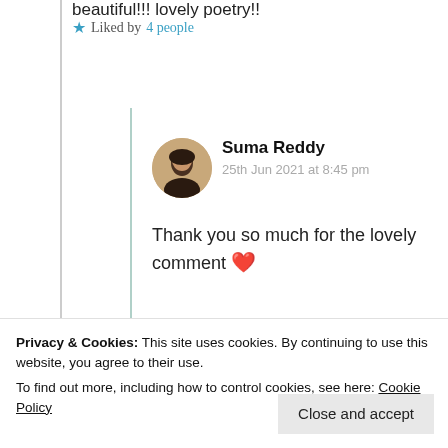beautiful!!! lovely poetry!!
★ Liked by 4 people
Log in to Reply
Suma Reddy
25th Jun 2021 at 8:45 pm
Thank you so much for the lovely comment ❤
Privacy & Cookies: This site uses cookies. By continuing to use this website, you agree to their use.
To find out more, including how to control cookies, see here: Cookie Policy
Close and accept